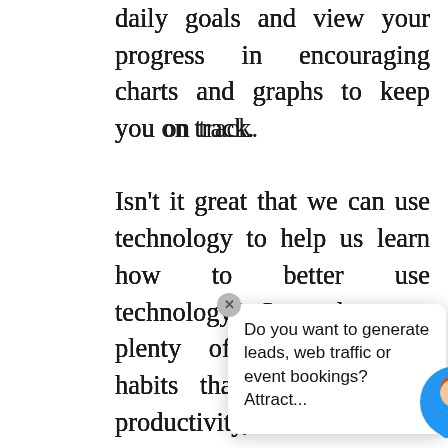daily goals and view your progress in encouraging charts and graphs to keep you on track.

Isn't it great that we can use technology to help us learn how to better use technology? Sure, there are plenty of distractions or habits that eat into daily productivity, but there are also incredibly useful apps that can str[eamline your] day. Wheth[er you run a] business so[lely with an] online team, we hope you've
Do you want to generate leads, web traffic or event bookings? Attract...